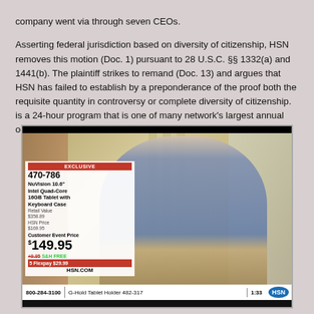company went via through seven CEOs.
Asserting federal jurisdiction based on diversity of citizenship, HSN removes this motion (Doc. 1) pursuant to 28 U.S.C. §§ 1332(a) and 1441(b). The plaintiff strikes to remand (Doc. 13) and argues that HSN has failed to establish by a preponderance of the proof both the requisite quantity in controversy or complete diversity of citizenship. is a 24-hour program that is one of many network's largest annual occasions.
[Figure (screenshot): HSN television screenshot showing a male presenter in a blue shirt and plaid tie. Product overlay shows: EXCLUSIVE, item 470-786, NuVision 10.6 Intel Quad-Core 16GB Tablet with Keyboard Case, Retail Value $358.89, HSN Price $169.95, Customer Event Price $149.95, +9.95 S&H FREE, 5 Flexpay $29.99, HSN.COM. Bottom bar shows 800-284-3100, G-Hold Tablet Holder 482-317, 1:33, HSN logo.]